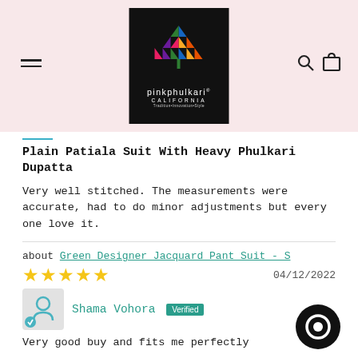[Figure (logo): Pinkphulkari California logo on black background with colorful geometric pattern]
Plain Patiala Suit With Heavy Phulkari Dupatta
Very well stitched. The measurements were accurate, had to do minor adjustments but every one love it.
about Green Designer Jacquard Pant Suit - S
★★★★★   04/12/2022
Shama Vohora  Verified
Very good buy and fits me perfectly